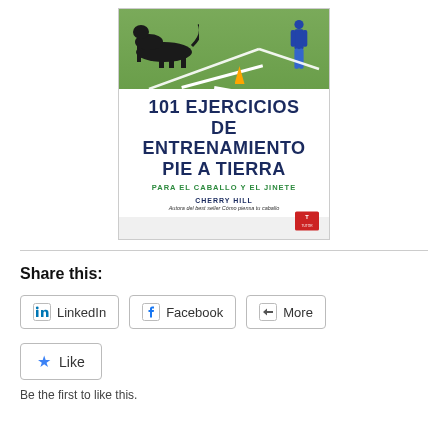[Figure (illustration): Book cover of '101 Ejercicios de Entrenamiento Pie a Tierra' by Cherry Hill, published by Tutor. Cover shows a horse and person on a green field with white lines and an orange cone. Title in bold dark blue, subtitle in green, author name below.]
Share this:
LinkedIn
Facebook
More
Like
Be the first to like this.